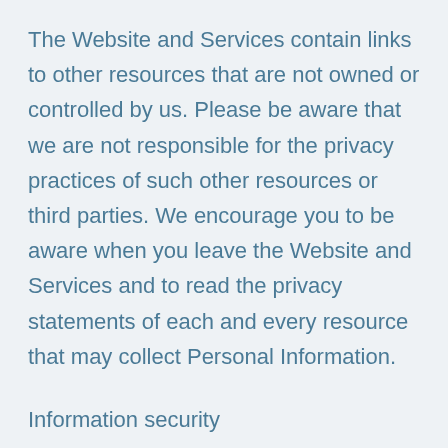The Website and Services contain links to other resources that are not owned or controlled by us. Please be aware that we are not responsible for the privacy practices of such other resources or third parties. We encourage you to be aware when you leave the Website and Services and to read the privacy statements of each and every resource that may collect Personal Information.
Information security
We secure information you provide on computer servers in a controlled, secure environment,